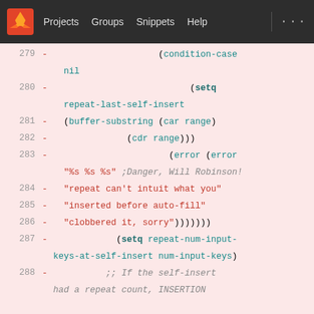[Figure (screenshot): GitLab navigation bar with logo, Projects, Groups, Snippets, Help links on dark background]
279  -  (condition-case
        nil
280  -    (setq
        repeat-last-self-insert
281  -    (buffer-substring (car range)
282  -          (cdr range)))
283  -            (error (error
        "%s %s %s" ;Danger, Will Robinson!
284  -    "repeat can't intuit what you"
285  -    "inserted before auto-fill"
286  -    "clobbered it, sorry")))))))
287  -      (setq repeat-num-input-keys-at-self-insert num-input-keys)
288  -          ;; If the self-insert
        had a repeat count, INSERTION